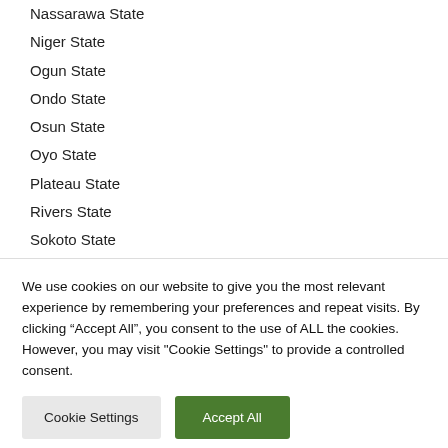Nassarawa State
Niger State
Ogun State
Ondo State
Osun State
Oyo State
Plateau State
Rivers State
Sokoto State
Taraba State
Yobe State
Zamfara State
We use cookies on our website to give you the most relevant experience by remembering your preferences and repeat visits. By clicking “Accept All”, you consent to the use of ALL the cookies. However, you may visit "Cookie Settings" to provide a controlled consent.
Cookie Settings
Accept All